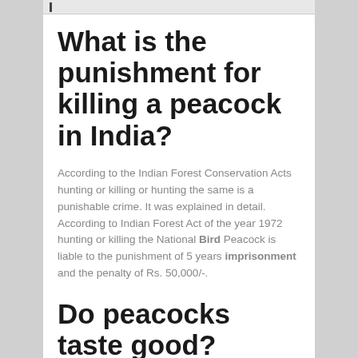What is the punishment for killing a peacock in India?
According to the Indian Forest Conservation Acts hunting or killing or hunting the same is a punishable crime. It was explained in detail. According to Indian Forest Act of the year 1972 hunting or killing the National Bird Peacock is liable to the punishment of 5 years imprisonment and the penalty of Rs. 50,000/-.
Do peacocks taste good?